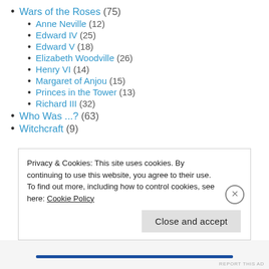Wars of the Roses (75)
Anne Neville (12)
Edward IV (25)
Edward V (18)
Elizabeth Woodville (26)
Henry VI (14)
Margaret of Anjou (15)
Princes in the Tower (13)
Richard III (32)
Who Was ...? (63)
Witchcraft (9)
Privacy & Cookies: This site uses cookies. By continuing to use this website, you agree to their use.
To find out more, including how to control cookies, see here: Cookie Policy
Close and accept